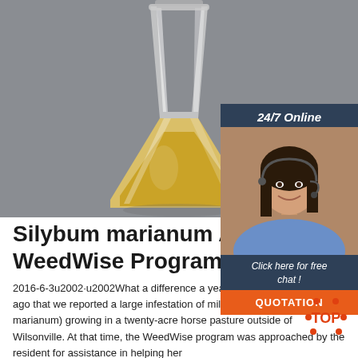[Figure (photo): A glass Erlenmeyer flask containing a yellow/amber liquid, photographed against a gray background.]
[Figure (photo): Advertisement box with dark blue background. Header reads '24/7 Online'. Center shows a photo of a smiling woman with a headset. Footer reads 'Click here for free chat!' with an orange 'QUOTATION' button below.]
Silybum marianum Archives WeedWise Program
2016-6-3u2002·u2002What a difference a year makes It was one year ago that we reported a large infestation of milk thistle (Silybum marianum) growing in a twenty-acre horse pasture outside of Wilsonville. At that time, the WeedWise program was approached by the resident for assistance in helping her